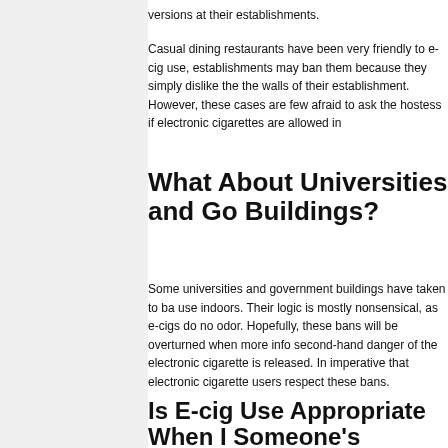versions at their establishments.
Casual dining restaurants have been very friendly to e-cig use, establishments may ban them because they simply dislike the the walls of their establishment. However, these cases are few afraid to ask the hostess if electronic cigarettes are allowed in
What About Universities and Go Buildings?
Some universities and government buildings have taken to ba use indoors. Their logic is mostly nonsensical, as e-cigs do no odor. Hopefully, these bans will be overturned when more info second-hand danger of the electronic cigarette is released. In imperative that electronic cigarette users respect these bans.
Is E-cig Use Appropriate When I Someone's Home?
Electronic cigarettes are odorless and smokeless. Lighting a someone's home is inconsiderate because you are subjecting to a cloud of smoke and an odor that is impossible to eradica